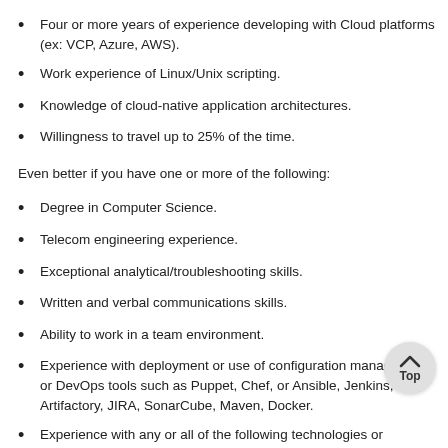Four or more years of experience developing with Cloud platforms (ex: VCP, Azure, AWS).
Work experience of Linux/Unix scripting.
Knowledge of cloud-native application architectures.
Willingness to travel up to 25% of the time.
Even better if you have one or more of the following:
Degree in Computer Science.
Telecom engineering experience.
Exceptional analytical/troubleshooting skills.
Written and verbal communications skills.
Ability to work in a team environment.
Experience with deployment or use of configuration management or DevOps tools such as Puppet, Chef, or Ansible, Jenkins, GIT, Artifactory, JIRA, SonarCube, Maven, Docker.
Experience with any or all of the following technologies or equivalent: